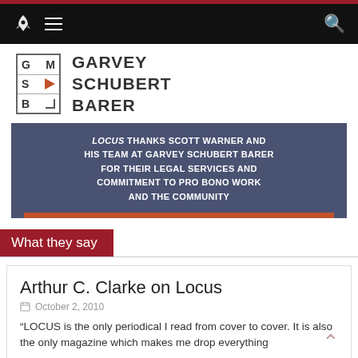Navigation bar with rocket logo, hamburger menu, and search icon
[Figure (logo): Garvey Schubert Barer law firm logo with GSB monogram in a bordered box and full name to the right]
LOCUS THANKS SCOTT WARNER AND HIS TEAM AT GARVEY SCHUBERT BARER FOR THEIR LEGAL SERVICES AND COMMITMENT TO PRO BONO WORK AND THE COMMUNITY
What they say
Arthur C. Clarke on Locus
October 2, 2010
“LOCUS is the only periodical I read from cover to cover. It is also the only magazine which makes me drop everything